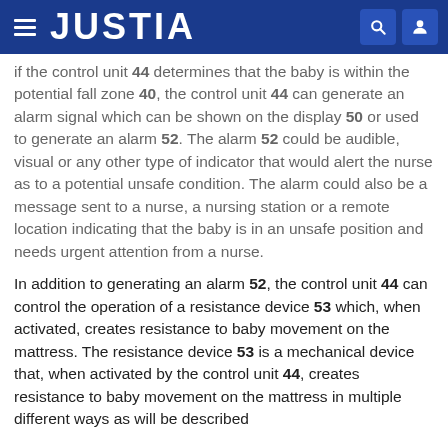JUSTIA
if the control unit 44 determines that the baby is within the potential fall zone 40, the control unit 44 can generate an alarm signal which can be shown on the display 50 or used to generate an alarm 52. The alarm 52 could be audible, visual or any other type of indicator that would alert the nurse as to a potential unsafe condition. The alarm could also be a message sent to a nurse, a nursing station or a remote location indicating that the baby is in an unsafe position and needs urgent attention from a nurse.
In addition to generating an alarm 52, the control unit 44 can control the operation of a resistance device 53 which, when activated, creates resistance to baby movement on the mattress. The resistance device 53 is a mechanical device that, when activated by the control unit 44, creates resistance to baby movement on the mattress in multiple different ways as will be described